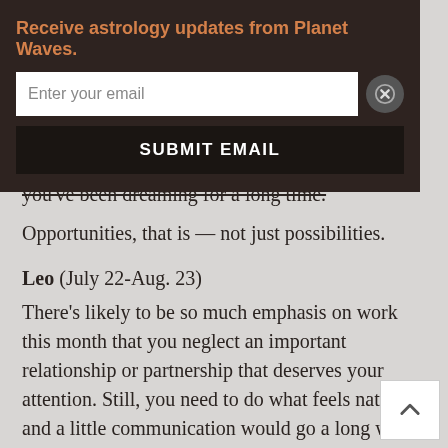Receive astrology updates from Planet Waves.
Enter your email
SUBMIT EMAIL
you've been dreaming for a long time. Opportunities, that is — not just possibilities.
Leo (July 22-Aug. 23)
There's likely to be so much emphasis on work this month that you neglect an important relationship or partnership that deserves your attention. Still, you need to do what feels natural, and a little communication would go a long way. I suggest that communication start with listening, though to get the discussion going you may need to do more than drop hints. You need to ask and observe. Someone close to you is changing in